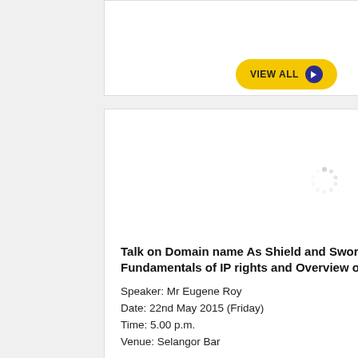[Figure (screenshot): Partial top card left - white card with VIEW ALL button]
[Figure (screenshot): Partial top card right - white card showing 'Selangor Darul Ehsan.' text with VIEW ALL button]
[Figure (illustration): Loading spinner icon in left bottom card]
Talk on Domain name As Shield and Sword : Empire Strikes Back Fundamentals of IP rights and Overview of Domain Name Strategy
Speaker: Mr Eugene Roy
Date: 22nd May 2015 (Friday)
Time: 5.00 p.m.
Venue: Selangor Bar
[Figure (illustration): Loading spinner icon in right bottom card]
Selangor Bar Members Night 2015
DATE: 16th May 2015
TIME: 7.00pm
VENUE: The Lake View (
)